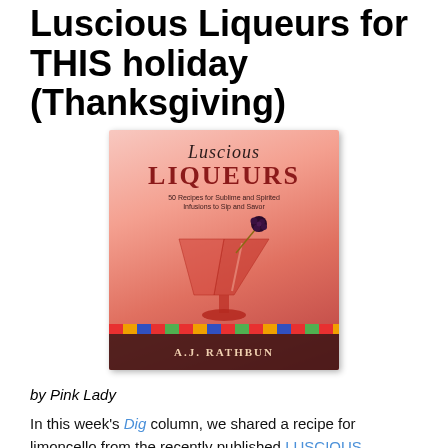Luscious Liqueurs for THIS holiday (Thanksgiving)
[Figure (photo): Book cover of 'Luscious Liqueurs' by A.J. Rathbun, showing a red martini glass with a blackberry garnish on a cocktail pick, with colorful striped spine at bottom. Pink background.]
by Pink Lady
In this week's Dig column, we shared a recipe for limoncello from the recently published LUSCIOUS